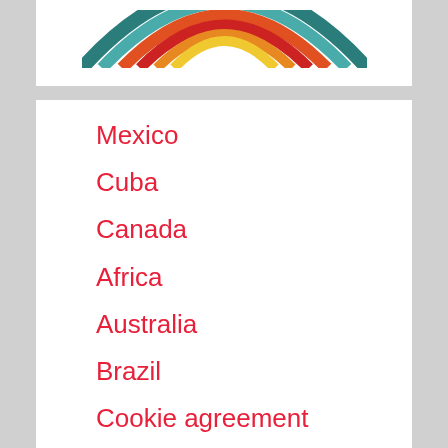[Figure (logo): Partial rainbow arc logo in teal, orange, red and yellow colors, shown at top of page]
Mexico
Cuba
Canada
Africa
Australia
Brazil
Cookie agreement
Privacy Policy
Author
FAQ